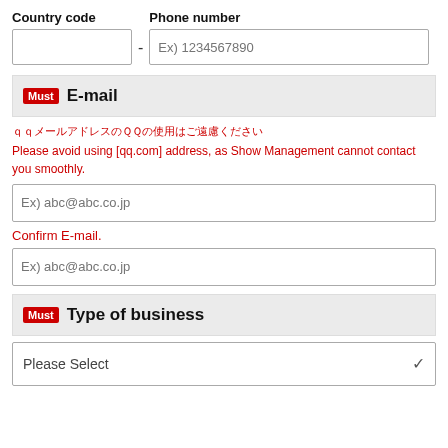Country code
Phone number
Must E-mail
ｑｑメールアドレスのQQの使用はご遠慮ください
Please avoid using [qq.com] address, as Show Management cannot contact you smoothly.
Ex) abc@abc.co.jp
Confirm E-mail.
Ex) abc@abc.co.jp
Must Type of business
Please Select